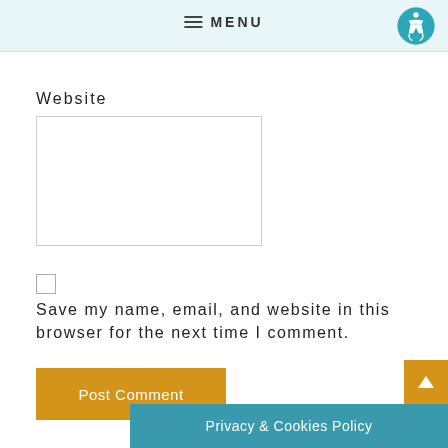MENU
Website
Save my name, email, and website in this browser for the next time I comment.
Post Comment
Privacy & Cookies Policy